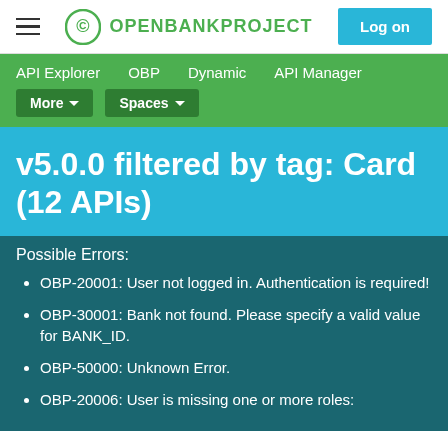OPENBANKPROJECT | Log on
API Explorer   OBP   Dynamic   API Manager   More ▾   Spaces ▾
v5.0.0 filtered by tag: Card (12 APIs)
Possible Errors:
OBP-20001: User not logged in. Authentication is required!
OBP-30001: Bank not found. Please specify a valid value for BANK_ID.
OBP-50000: Unknown Error.
OBP-20006: User is missing one or more roles: